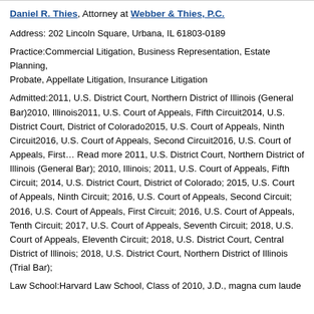Daniel R. Thies, Attorney at Webber & Thies, P.C.
Address: 202 Lincoln Square, Urbana, IL 61803-0189
Practice:Commercial Litigation, Business Representation, Estate Planning, Probate, Appellate Litigation, Insurance Litigation
Admitted:2011, U.S. District Court, Northern District of Illinois (General Bar)2010, Illinois2011, U.S. Court of Appeals, Fifth Circuit2014, U.S. District Court, District of Colorado2015, U.S. Court of Appeals, Ninth Circuit2016, U.S. Court of Appeals, Second Circuit2016, U.S. Court of Appeals, First… Read more 2011, U.S. District Court, Northern District of Illinois (General Bar); 2010, Illinois; 2011, U.S. Court of Appeals, Fifth Circuit; 2014, U.S. District Court, District of Colorado; 2015, U.S. Court of Appeals, Ninth Circuit; 2016, U.S. Court of Appeals, Second Circuit; 2016, U.S. Court of Appeals, First Circuit; 2016, U.S. Court of Appeals, Tenth Circuit; 2017, U.S. Court of Appeals, Seventh Circuit; 2018, U.S. Court of Appeals, Eleventh Circuit; 2018, U.S. District Court, Central District of Illinois; 2018, U.S. District Court, Northern District of Illinois (Trial Bar);
Law School:Harvard Law School, Class of 2010, J.D., magna cum laude